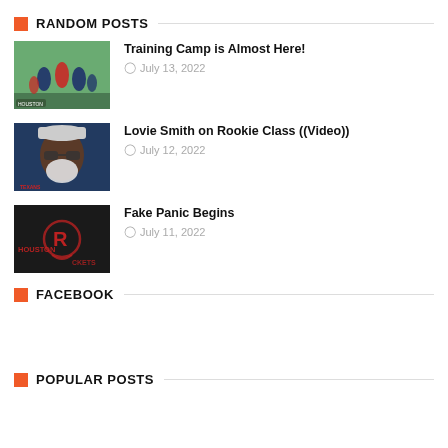RANDOM POSTS
Training Camp is Almost Here! — July 13, 2022
Lovie Smith on Rookie Class ((Video)) — July 12, 2022
Fake Panic Begins — July 11, 2022
FACEBOOK
POPULAR POSTS